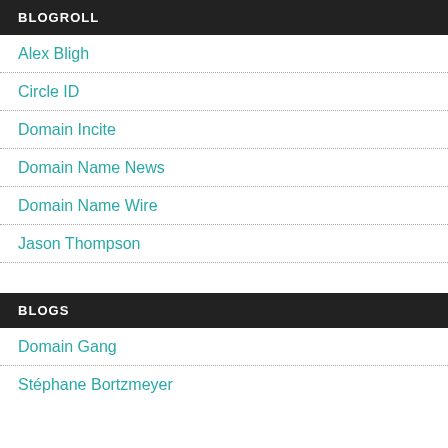BLOGROLL
Alex Bligh
Circle ID
Domain Incite
Domain Name News
Domain Name Wire
Jason Thompson
BLOGS
Domain Gang
Stéphane Bortzmeyer